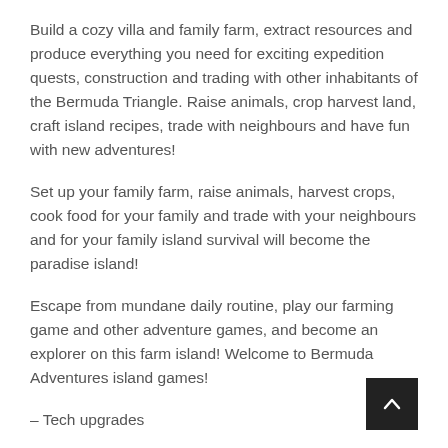Build a cozy villa and family farm, extract resources and produce everything you need for exciting expedition quests, construction and trading with other inhabitants of the Bermuda Triangle. Raise animals, crop harvest land, craft island recipes, trade with neighbours and have fun with new adventures!
Set up your family farm, raise animals, harvest crops, cook food for your family and trade with your neighbours and for your family island survival will become the paradise island!
Escape from mundane daily routine, play our farming game and other adventure games, and become an explorer on this farm island! Welcome to Bermuda Adventures island games!
– Tech upgrades